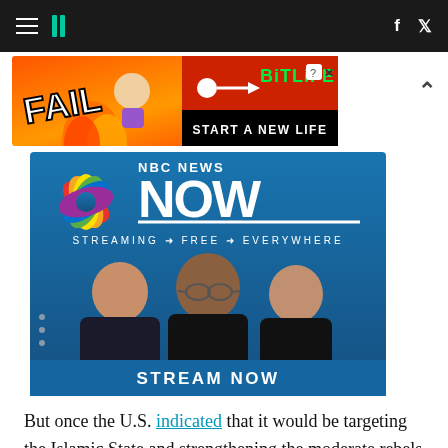HuffPost navigation bar with hamburger menu, logo, Facebook and Twitter icons
[Figure (infographic): BitLife mobile game advertisement banner: orange/fire background with FAIL text and character, BitLife logo in green, START A NEW LIFE text on black background]
[Figure (infographic): NBC News Now advertisement: blue background with NBC peacock logo, NOW text, STREAMING FREE EVERYWHERE text, three news anchors, STREAM NOW button]
But once the U.S. indicated that it would be targeting the Islamic State and strengthening the moderate rebels, but not attacking Assad, the